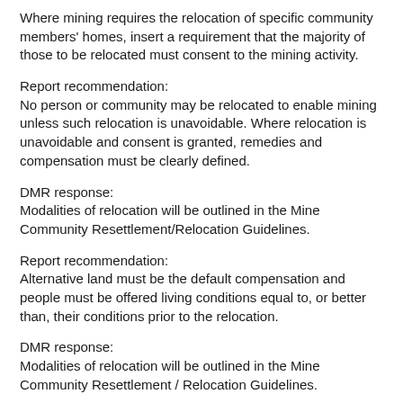Where mining requires the relocation of specific community members' homes, insert a requirement that the majority of those to be relocated must consent to the mining activity.
Report recommendation:
No person or community may be relocated to enable mining unless such relocation is unavoidable. Where relocation is unavoidable and consent is granted, remedies and compensation must be clearly defined.
DMR response:
Modalities of relocation will be outlined in the Mine Community Resettlement/Relocation Guidelines.
Report recommendation:
Alternative land must be the default compensation and people must be offered living conditions equal to, or better than, their conditions prior to the relocation.
DMR response:
Modalities of relocation will be outlined in the Mine Community Resettlement / Relocation Guidelines.